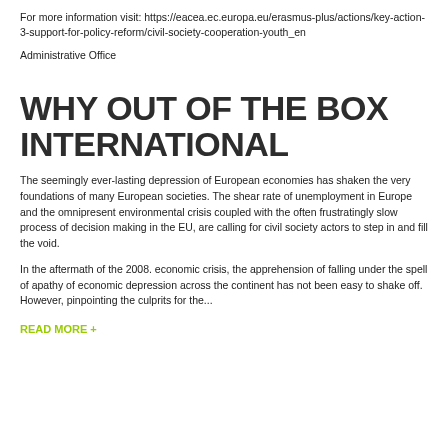For more information visit: https://eacea.ec.europa.eu/erasmus-plus/actions/key-action-3-support-for-policy-reform/civil-society-cooperation-youth_en
Administrative Office
WHY OUT OF THE BOX INTERNATIONAL
The seemingly ever-lasting depression of European economies has shaken the very foundations of many European societies. The shear rate of unemployment in Europe and the omnipresent environmental crisis coupled with the often frustratingly slow process of decision making in the EU, are calling for civil society actors to step in and fill the void.
In the aftermath of the 2008. economic crisis, the apprehension of falling under the spell of apathy of economic depression across the continent has not been easy to shake off. However, pinpointing the culprits for the...
READ MORE +